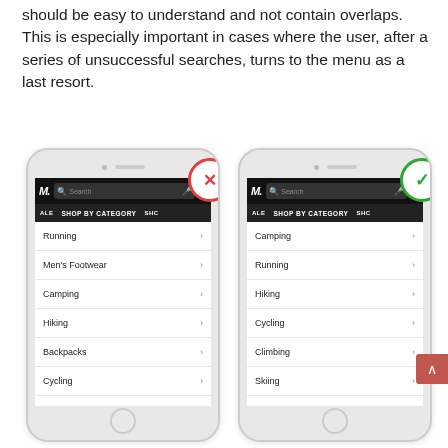should be easy to understand and not contain overlaps. This is especially important in cases where the user, after a series of unsuccessful searches, turns to the menu as a last resort.
[Figure (screenshot): Two mobile phone screenshots side by side comparing bad (X) and good (checkmark) navigation menu designs. Left phone shows menu: Running, Men's Footwear, Camping, Hiking, Backpacks, Cycling, Snow Sports, Clothing. Right phone shows reorganized menu: Camping, Running, Hiking, Cycling, Climbing, Skiing, Snowboarding, Fishing.]